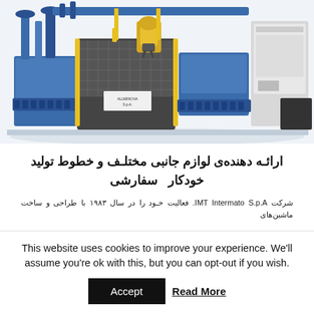[Figure (photo): Industrial automated manufacturing line with blue conveyor systems, yellow safety pillars, robotic arm, and CNC machining centers in a white background product photo.]
ارائـه دهنده‌ی لوازم جانبی مختلـف و خطوط تولید خودکار  سفارشی
شرکت IMT Intermato S.p.A. فعالیت خود را در سال ۱۹۸۳ با طراحی و ساخت ماشین‌های
This website uses cookies to improve your experience. We'll assume you're ok with this, but you can opt-out if you wish.